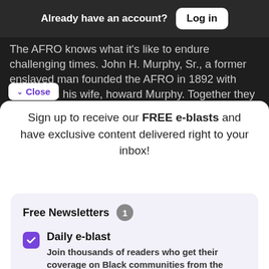Already have an account? Log in
The AFRO knows what it's like to endure challenging times. John H. Murphy, Sr., a former enslaved man founded the AFRO in 1892 with $200 from his wife, howard Murphy. Together they created a
✓ Close
Sign up to receive our FREE e-blasts and have exclusive content delivered right to your inbox!
Free Newsletters  1
Daily e-blast
Join thousands of readers who get their coverage on Black communities from the media company who has been doing it